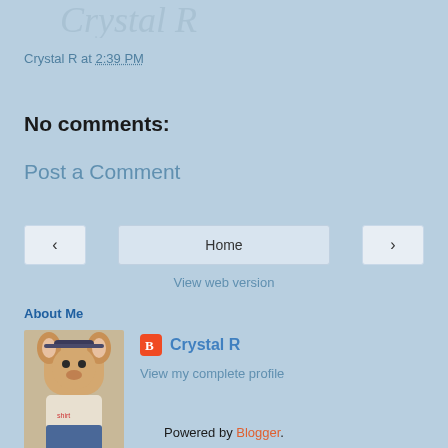[Figure (illustration): Decorative cursive/script text watermark at top of page, light blue on light blue background]
Crystal R at 2:39 PM
No comments:
Post a Comment
[Figure (other): Navigation bar with left arrow button, Home button, and right arrow button]
View web version
About Me
[Figure (photo): Profile photo of a stuffed animal/doll wearing a shirt and jeans with red shoes]
Crystal R
View my complete profile
Powered by Blogger.